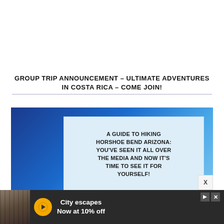GROUP TRIP ANNOUNCEMENT – ULTIMATE ADVENTURES IN COSTA RICA – COME JOIN!
[Figure (illustration): Blue gradient background image with an overlaid light blue card containing bold uppercase text: 'A GUIDE TO HIKING HORSHOE BEND ARIZONA: YOU'VE SEEN IT ALL OVER THE MEDIA AND NOW IT'S TIME TO SEE IT FOR YOURSELF!']
[Figure (screenshot): Advertisement banner: 'City escapes Now at 10% off' with a yellow circular travel icon on left, and a photo of a person from behind on the far left. Controls including play button and X are visible.]